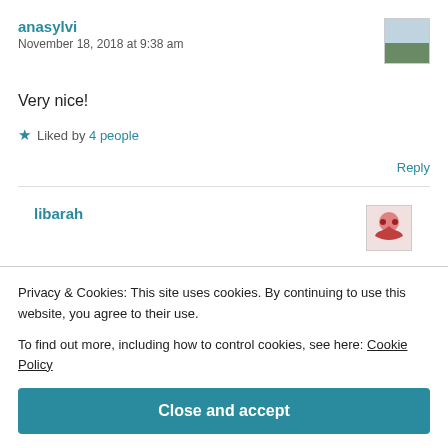anasylvi
November 18, 2018 at 9:38 am
Very nice!
★ Liked by 4 people
Reply
libarah
Privacy & Cookies: This site uses cookies. By continuing to use this website, you agree to their use. To find out more, including how to control cookies, see here: Cookie Policy
Close and accept